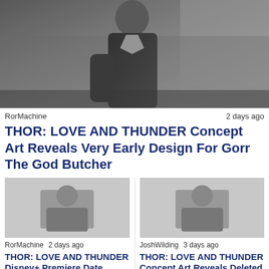[Figure (photo): Black and white photo of a person in dark clothing, blurred background]
RorMachine   2 days ago
THOR: LOVE AND THUNDER Concept Art Reveals Very Early Design For Gorr The God Butcher
[Figure (photo): Placeholder/blank image for second article]
RorMachine   2 days ago
THOR: LOVE AND THUNDER Disney+ Premiere Date Revealed As More...
[Figure (photo): Placeholder/blank image for third article]
JoshWilding   3 days ago
THOR: LOVE AND THUNDER Concept Art Reveals Deleted Scene With Jeff...